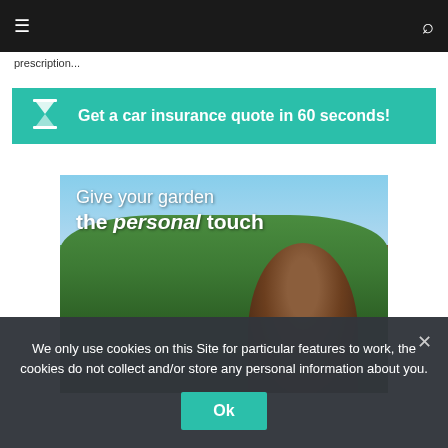Navigation bar with menu and search icons
prescription...
[Figure (infographic): Teal banner with hourglass icon and text: Get a car insurance quote in 60 seconds!]
[Figure (photo): Garden scene with a smiling person. Text overlay: 'Give your garden the personal touch']
We only use cookies on this Site for particular features to work, the cookies do not collect and/or store any personal information about you.